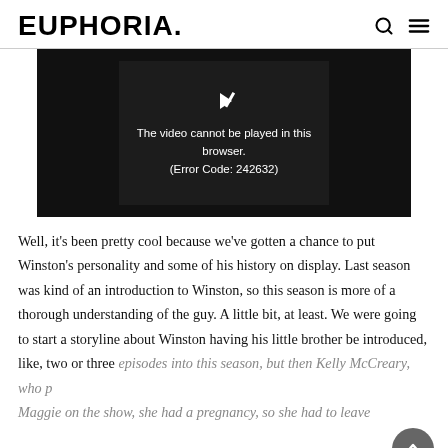EUPHORIA.
[Figure (screenshot): Video player showing error message: 'The video cannot be played in this browser. (Error Code: 242632)' on a dark background.]
Well, it's been pretty cool because we've gotten a chance to put Winston's personality and some of his history on display. Last season was kind of an introduction to Winston, so this season is more of a thorough understanding of the guy. A little bit, at least. We were going to start a storyline about Winston having his little brother be introduced, like, two or three episodes into this season, but then Kelly McCreary, who plays Maggie on the show, she had a pregnancy, so she had to leave